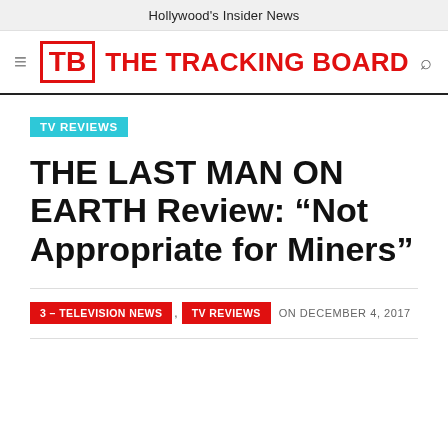Hollywood's Insider News
[Figure (logo): The Tracking Board logo with TB initials in red box and red text 'THE TRACKING BOARD', with hamburger menu icon and search icon]
TV REVIEWS
THE LAST MAN ON EARTH Review: “Not Appropriate for Miners”
3 – TELEVISION NEWS , TV REVIEWS ON DECEMBER 4, 2017